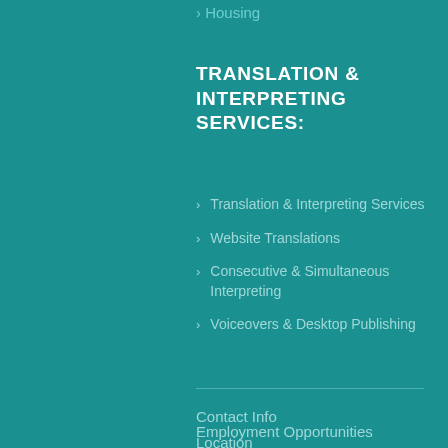Housing
TRANSLATION & INTERPRETING SERVICES:
Translation & Interpreting Services
Website Translations
Consecutive & Simultaneous Interpreting
Voiceovers & Desktop Publishing
Contact Info
Location
Employment Opportunities